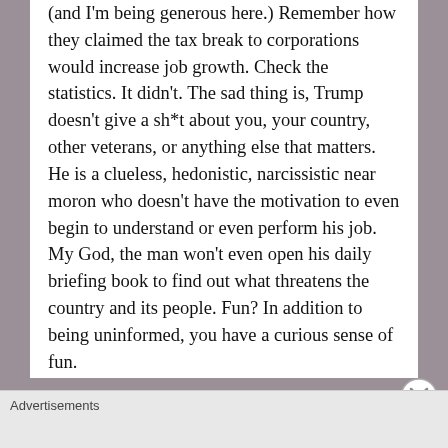(and I'm being generous here.) Remember how they claimed the tax break to corporations would increase job growth. Check the statistics. It didn't. The sad thing is, Trump doesn't give a sh*t about you, your country, other veterans, or anything else that matters. He is a clueless, hedonistic, narcissistic near moron who doesn't have the motivation to even begin to understand or even perform his job. My God, the man won't even open his daily briefing book to find out what threatens the country and its people. Fun? In addition to being uninformed, you have a curious sense of fun.
★ Like
Advertisements